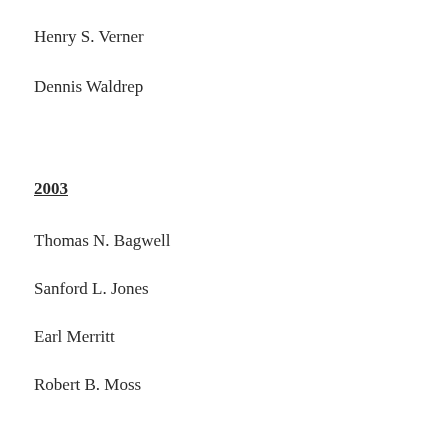Henry S. Verner
Dennis Waldrep
2003
Thomas N. Bagwell
Sanford L. Jones
Earl Merritt
Robert B. Moss